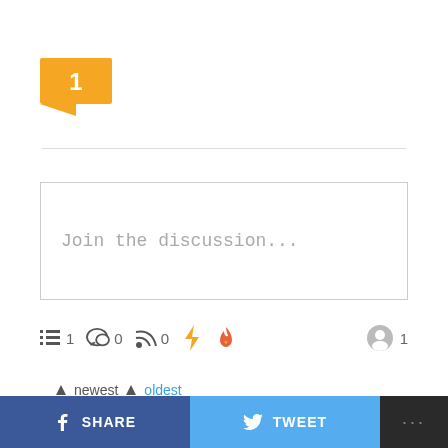[Figure (other): Orange/yellow comment badge with number 1 and speech bubble pointer]
Join the discussion...
≡ 1   ◎ 0   ⊃ 0   ⚡   🔥   👤 1
▲ newest  ▲ oldest
Bonnie Milroy
SHARE
TWEET
...